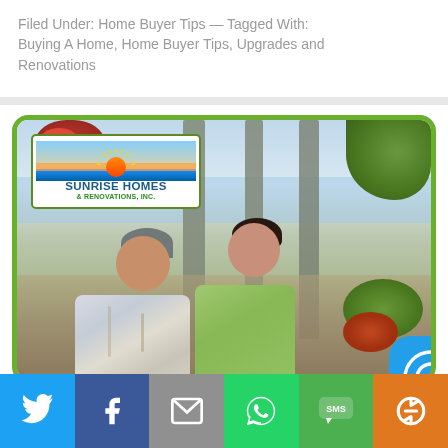Filed Under: Home Buyer Tips — Tagged With: Buying A Home, Home Buyer Tips, Upgrades and Renovations
[Figure (photo): Couple sitting outdoors in front of a waterfront scene with palm trees, with the Sunrise Homes & Renovations, Inc. logo overlaid in the upper left. A colorful bird (parrot) is visible at top left.]
[Figure (infographic): Social sharing bar with buttons for Twitter (blue), Facebook (dark blue), Email (gray), WhatsApp (green), SMS (green), and a share/reload icon (orange).]